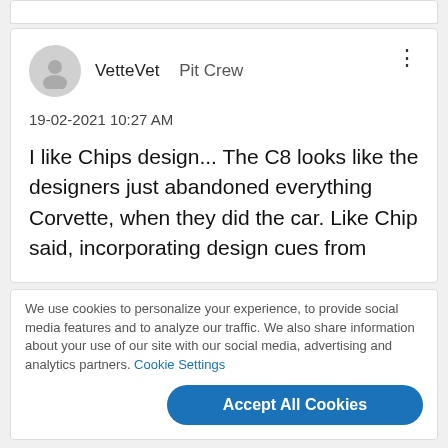[Figure (screenshot): User avatar - grey circle with person silhouette icon]
VetteVet  Pit Crew
19-02-2021 10:27 AM
I like Chips design... The C8 looks like the designers just abandoned everything Corvette, when they did the car. Like Chip said, incorporating design cues from
We use cookies to personalize your experience, to provide social media features and to analyze our traffic. We also share information about your use of our site with our social media, advertising and analytics partners. Cookie Settings
Accept All Cookies